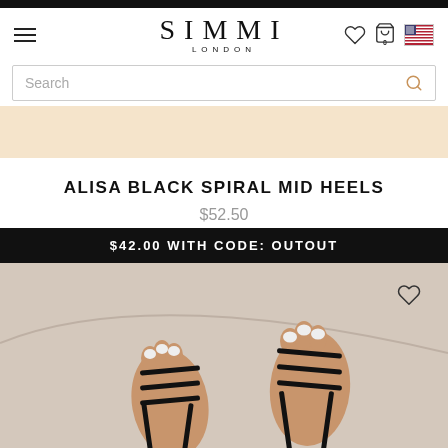SIMMI LONDON
Search
[Figure (screenshot): Peach/cream promotional banner strip]
ALISA BLACK SPIRAL MID HEELS
$52.50
$42.00 WITH CODE: OUTOUT
[Figure (photo): Close-up photo of feet wearing black strappy spiral mid heel sandals on a beige/cream surface]